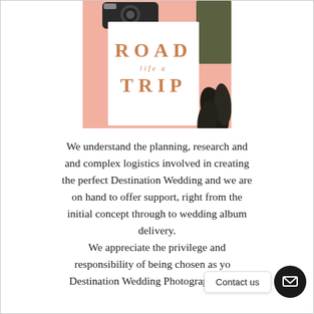[Figure (photo): Flat lay photo showing a 'Road Life a Trip' card/book on a pink background, with a camera at the top, green fabric swatch top right, and dark plant leaves bottom right.]
We understand the planning, research and and complex logistics involved in creating the perfect Destination Wedding and we are on hand to offer support, right from the initial concept through to wedding album delivery. We appreciate the privilege and responsibility of being chosen as your Destination Wedding Photographers and